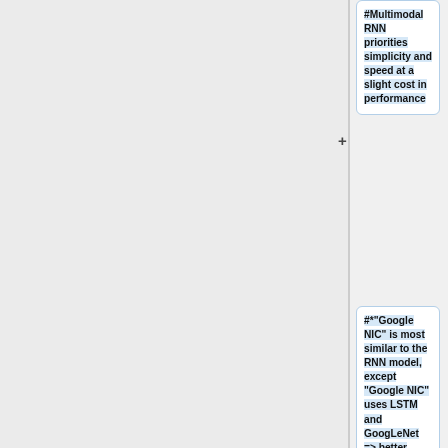#Multimodal RNN priorities simplicity and speed at a slight cost in performance
#*"Google NIC" is most similar to the RNN model, except "Google NIC" uses LSTM and GoogLeNet => better performance
#*Both “LRCN” and “Mao et al.” use less powerful AlexNet features than the RNN model